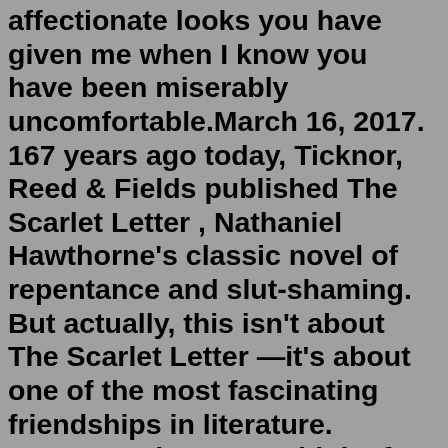affectionate looks you have given me when I know you have been miserably uncomfortable.March 16, 2017. 167 years ago today, Ticknor, Reed & Fields published The Scarlet Letter , Nathaniel Hawthorne's classic novel of repentance and slut-shaming. But actually, this isn't about The Scarlet Letter —it's about one of the most fascinating friendships in literature. Because whenever I think of Nathaniel Hawthorne, I can't ...Jul 26, 2021 · In Augustine Frizzell's " The Last Letter From Your Lover ," Ellie Haworth (Felicity Jones) unearths forgotten love letters from the '60s while on assignment as a London Chronicle features writer. Enraptured by the exchanges, she scavenges for answers about their authors. Her research transports her deep into the past, leading her to Jennifer ... When I look at the world through your eyes, it's a better place. I love the way you look. You're so handsome, but you don't seem to realize how good looking you are. I see the way other people look at you, and I know they envy me for being with you. I'd love you even if you